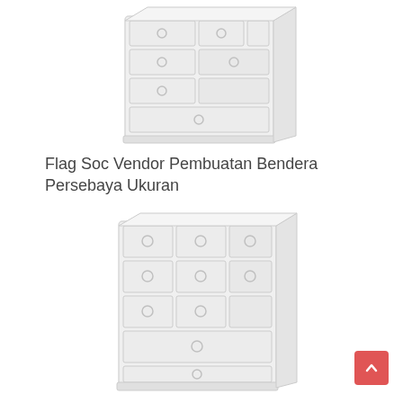[Figure (photo): Product image of a white chest of drawers with multiple drawers and round handles, viewed from a slight angle]
Flag Soc Vendor Pembuatan Bendera Persebaya Ukuran
[Figure (photo): Second product image of a white chest of drawers with multiple drawers and round handles, viewed from a slight angle, larger size]